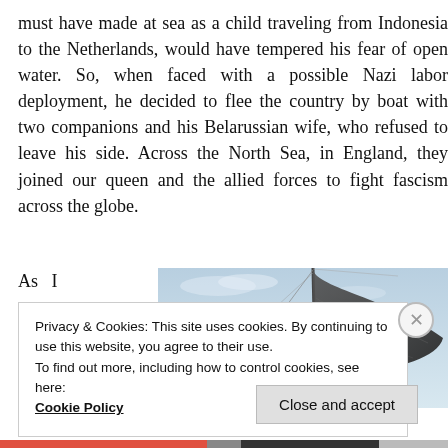must have made at sea as a child traveling from Indonesia to the Netherlands, would have tempered his fear of open water. So, when faced with a possible Nazi labor deployment, he decided to flee the country by boat with two companions and his Belarussian wife, who refused to leave his side. Across the North Sea, in England, they joined our queen and the allied forces to fight fascism across the globe.
As I wrote a few years
[Figure (photo): Photograph of a sailboat sail against a light blue sky, taken from the deck. The dark sail is billowing, with rigging lines visible.]
Privacy & Cookies: This site uses cookies. By continuing to use this website, you agree to their use.
To find out more, including how to control cookies, see here:
Cookie Policy
Close and accept